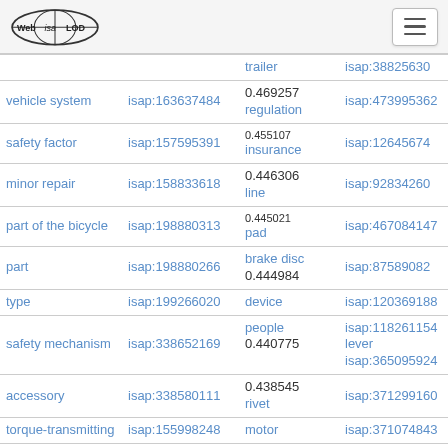Web isa LOD [logo] [hamburger menu]
| term | isap id | score | related term | related isap |
| --- | --- | --- | --- | --- |
|  |  | trailer | isap:38825630 |
| vehicle system | isap:163637484 | 0.469257
regulation | isap:473995362 |
| safety factor | isap:157595391 | 0.455107
insurance | isap:12645674 |
| minor repair | isap:158833618 | 0.446306
line | isap:92834260 |
| part of the bicycle | isap:198880313 | 0.445021
pad | isap:467084147 |
| part | isap:198880266 | brake disc
0.444984 | isap:87589082 |
| type | isap:199266020 | device | isap:120369188 |
| safety mechanism | isap:338652169 | people
0.440775 | isap:118261154
lever
isap:365095924 |
| accessory | isap:338580111 | 0.438545
rivet | isap:371299160 |
| torque-transmitting | isap:155998248 | motor | isap:371074843 |